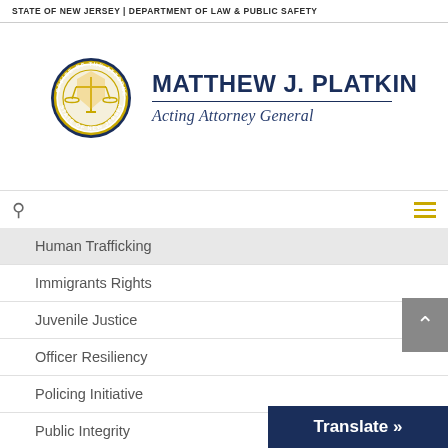STATE OF NEW JERSEY | DEPARTMENT OF LAW & PUBLIC SAFETY
[Figure (logo): Office of the Attorney General seal/logo circle with scales of justice]
MATTHEW J. PLATKIN
Acting Attorney General
Human Trafficking
Immigrants Rights
Juvenile Justice
Officer Resiliency
Policing Initiative
Public Integrity
Sexual Assault Victims
Sports Wagering
Translate »